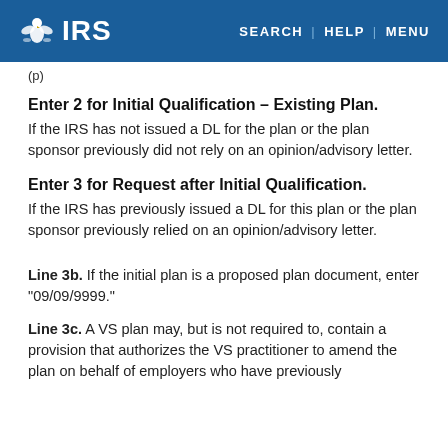IRS — SEARCH | HELP | MENU
(p)
Enter 2 for Initial Qualification – Existing Plan.
If the IRS has not issued a DL for the plan or the plan sponsor previously did not rely on an opinion/advisory letter.
Enter 3 for Request after Initial Qualification.
If the IRS has previously issued a DL for this plan or the plan sponsor previously relied on an opinion/advisory letter.
Line 3b. If the initial plan is a proposed plan document, enter "09/09/9999."
Line 3c. A VS plan may, but is not required to, contain a provision that authorizes the VS practitioner to amend the plan on behalf of employers who have previously